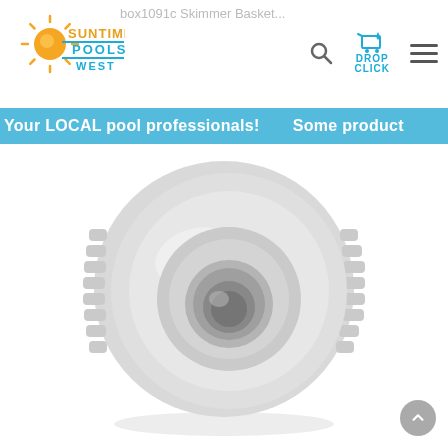box1091c Skimmer Basket...
[Figure (logo): Suntime Pools West logo with sun rays icon in orange and yellow, text SUNTIME POOLS WEST]
Your LOCAL pool professionals!      Some product
[Figure (photo): White plastic threaded pool fitting/connector with a large circular opening in the center, viewed from a slight angle showing threaded exterior and recessed circular port]
[Figure (other): Back to top circular grey button with up arrow chevron]